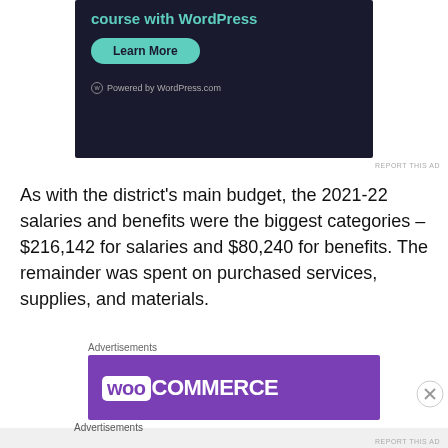[Figure (screenshot): WordPress.com advertisement banner with dark background, teal heading text 'course with WordPress', a teal 'Learn More' button, and 'Powered by WordPress.com' footer text]
REPORT THIS AD
As with the district’s main budget, the 2021-22 salaries and benefits were the biggest categories – $216,142 for salaries and $80,240 for benefits. The remainder was spent on purchased services, supplies, and materials.
Advertisements
[Figure (screenshot): WooCommerce advertisement banner with purple background and white WooCommerce logo text]
Advertisements